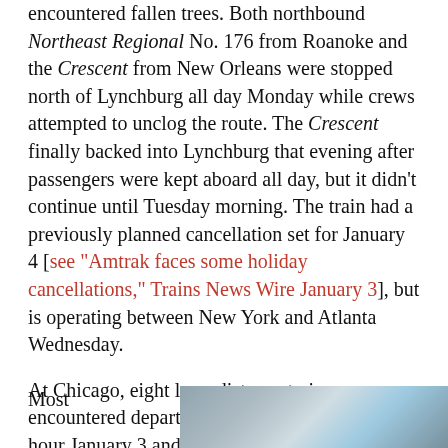encountered fallen trees. Both northbound Northeast Regional No. 176 from Roanoke and the Crescent from New Orleans were stopped north of Lynchburg all day Monday while crews attempted to unclog the route. The Crescent finally backed into Lynchburg that evening after passengers were kept aboard all day, but it didn't continue until Tuesday morning. The train had a previously planned cancellation set for January 4 [see "Amtrak faces some holiday cancellations," Trains News Wire January 3], but is operating between New York and Atlanta Wednesday.
At Chicago, eight long-distance trains encountered departure delays of more than an hour January 3 and 4. The Southwest Chief, California Zephyr, and City of New Orleans all departed more than 2 hours late on Tuesday.
Most
[Figure (photo): Partial photo of a train interior or exterior, partially visible at bottom right of page]